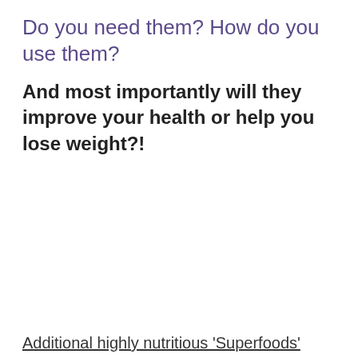Do you need them? How do you use them?
And most importantly will they improve your health or help you lose weight?!
Additional highly nutritious 'Superfoods' include:
Kiki Nature's Living Superfood Blend – 100% raw, green alkalising whole food supplement. It is derived